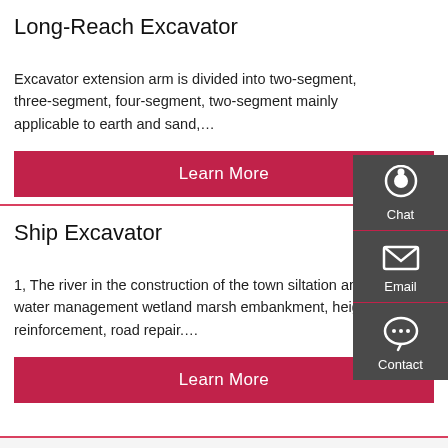Long-Reach Excavator
Excavator extension arm is divided into two-segment, three-segment, four-segment, two-segment mainly applicable to earth and sand,…
Learn More
Ship Excavator
1, The river in the construction of the town siltation and water management wetland marsh embankment, height, reinforcement, road repair.…
Learn More
[Figure (infographic): Sidebar widget with Chat, Email, and Contact icons on dark grey background]
Chat
Email
Contact